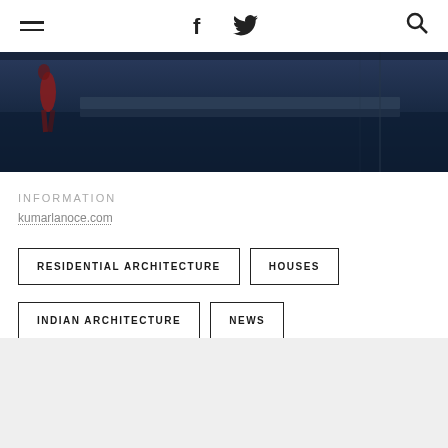≡  f  🐦  🔍
[Figure (photo): Dark blue-toned street scene photo with a person walking in a red garment on the left, showing architectural pavement and steps]
INFORMATION
kumarlanoce.com
RESIDENTIAL ARCHITECTURE
HOUSES
INDIAN ARCHITECTURE
NEWS